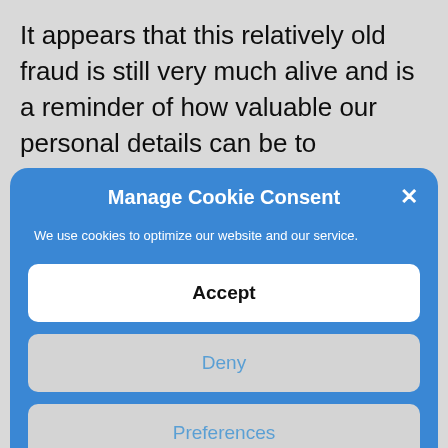It appears that this relatively old fraud is still very much alive and is a reminder of how valuable our personal details can be to criminals. Bearing in mind how serious this fraud can be to the victims, it is shocking that photo ID checks for replacement SIMs are not made to be compulsory for all operators in all situations.  Mobile operators could help
[Figure (screenshot): Cookie consent modal dialog with blue background. Contains title 'Manage Cookie Consent', description text, and three buttons: Accept (white), Deny (grey), Preferences (grey). Footer links: Cookie Policy, Terms and Conditions.]